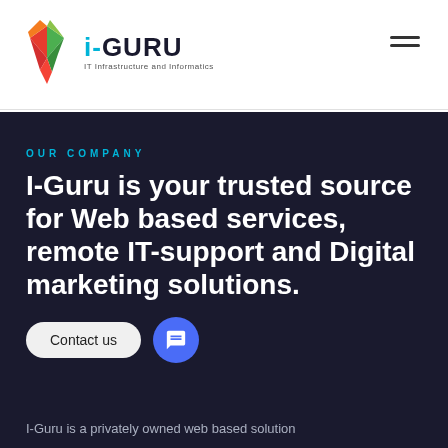[Figure (logo): i-GURU logo with gem/diamond icon in orange, green, and red colors, followed by bold text 'i-GURU' and tagline 'IT Infrastructure and Informatics']
OUR COMPANY
I-Guru is your trusted source for Web based services, remote IT-support and Digital marketing solutions.
I-Guru is a privately owned web based solution